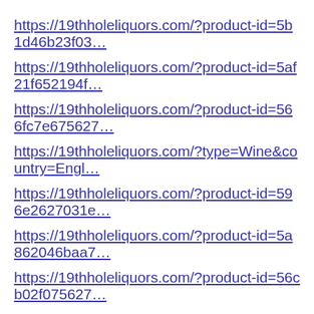https://19thholeliquors.com/?product-id=5b1d46b23f03…
https://19thholeliquors.com/?product-id=5af21f652194f…
https://19thholeliquors.com/?product-id=566fc7e675627…
https://19thholeliquors.com/?type=Wine&country=Engl…
https://19thholeliquors.com/?product-id=596e2627031e…
https://19thholeliquors.com/?product-id=5a862046baa7…
https://19thholeliquors.com/?product-id=56cb02f075627…
https://19thholeliquors.com/?content=15%25
https://19thholeliquors.com/?product-id=57e705c06970…
https://19thholeliquors.com/?product-id=573f9c5769702…
https://19thholeliquors.com/?product-id=586151f839e21…